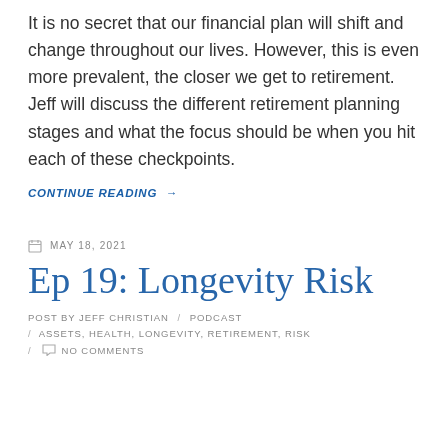It is no secret that our financial plan will shift and change throughout our lives. However, this is even more prevalent, the closer we get to retirement. Jeff will discuss the different retirement planning stages and what the focus should be when you hit each of these checkpoints.
CONTINUE READING →
MAY 18, 2021
Ep 19: Longevity Risk
POST BY JEFF CHRISTIAN / PODCAST
/ ASSETS, HEALTH, LONGEVITY, RETIREMENT, RISK
/ NO COMMENTS